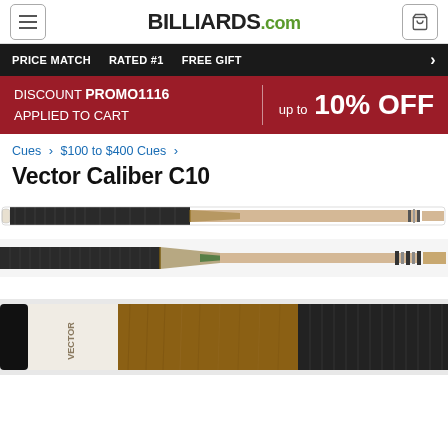BILLIARDS.com
PRICE MATCH   RATED #1   FREE GIFT
DISCOUNT PROMO1116 APPLIED TO CART  up to 10% OFF
Cues > $100 to $400 Cues >
Vector Caliber C10
[Figure (photo): Vector Caliber C10 billiard cue stick – full length view showing white tip, dark wrapped grip, and tan shaft with ring joint, viewed from side]
[Figure (photo): Vector Caliber C10 billiard cue stick – close-up view of butt section showing dark wrap, decorative inlays, and ring joint]
[Figure (photo): Vector Caliber C10 billiard cue – butt end detail showing white collar with VECTOR branding, wood grain section, and dark textured wrap]